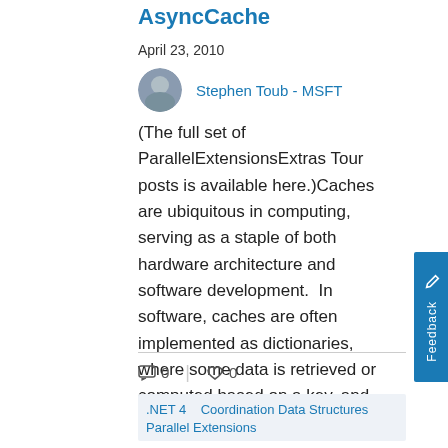AsyncCache
April 23, 2010
Stephen Toub - MSFT
(The full set of ParallelExtensionsExtras Tour posts is available here.)Caches are ubiquitous in computing, serving as a staple of both hardware architecture and software development.  In software, caches are often implemented as dictionaries, where some data is retrieved or computed based on a key, and then that key and its resulting ...
0  0
.NET 4   Coordination Data Structures   Parallel Extensions